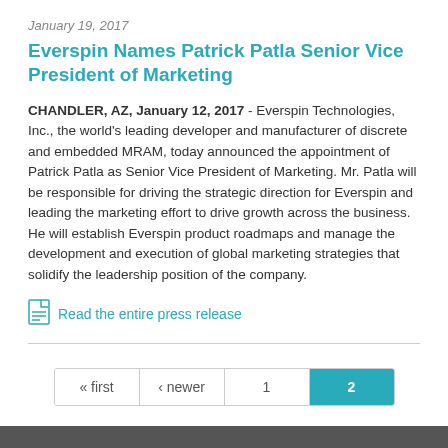January 19, 2017
Everspin Names Patrick Patla Senior Vice President of Marketing
CHANDLER, AZ, January 12, 2017 - Everspin Technologies, Inc., the world's leading developer and manufacturer of discrete and embedded MRAM, today announced the appointment of Patrick Patla as Senior Vice President of Marketing. Mr. Patla will be responsible for driving the strategic direction for Everspin and leading the marketing effort to drive growth across the business. He will establish Everspin product roadmaps and manage the development and execution of global marketing strategies that solidify the leadership position of the company.
Read the entire press release
« first  ‹ newer  1  2